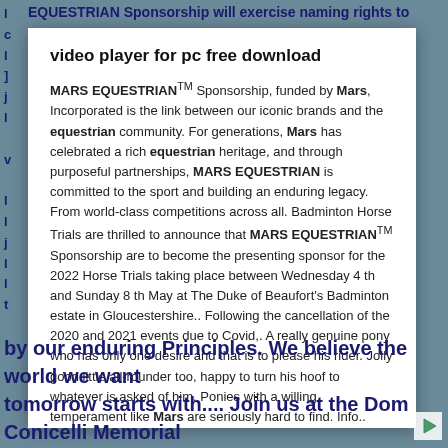EQUESTRIAN Sponsorship will exercise naming rights to
video player for pc free download
MARS EQUESTRIAN™ Sponsorship, funded by Mars, Incorporated is the link between our iconic brands and the equestrian community. For generations, Mars has celebrated a rich equestrian heritage, and through purposeful partnerships, MARS EQUESTRIAN is committed to the sport and building an enduring legacy. From world-class competitions across all. Badminton Horse Trials are thrilled to announce that MARS EQUESTRIAN™ Sponsorship are to become the presenting sponsor for the 2022 Horse Trials taking place between Wednesday 4 th and Sunday 8 th May at The Duke of Beaufort's Badminton estate in Gloucestershire.. Following the cancellation of the 2020 and 2021 events due to Covid,. A really genuine pony who has only one desire and that is to please his rider. Jolly good little all-rounder too, happy to turn his hoof to whatever is asked of him. Ponies with a willing temperament like Mars are seriously hard to find. Info..
dillon 650 conversion chart
A REAL Equine Dentist at work + Hand tools vs power tools Pros \u0026 ConsHorse dentist visits our Friesian horses. Horse Dental Equipment Equine Dental Products \u0026 Instruments Equine Dentistry Done Correctly If your Equine Dentist doesn't do this....then don't use them Traditional Equine Dentistry
by our enduring Principles. We believe the world we want tomorrow starts with.... Join us at the Dom Conicelli Memorial